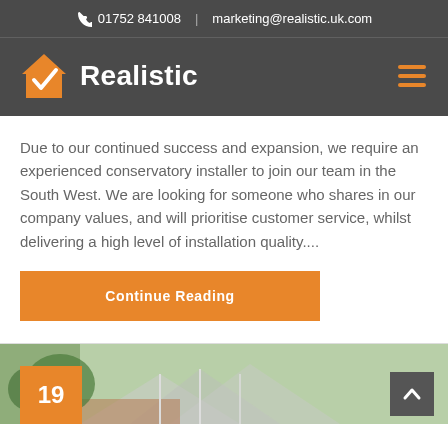📞 01752 841008  |  marketing@realistic.uk.com
[Figure (logo): Realistic company logo: orange house with checkmark icon and 'Realistic' text in white on dark grey background]
Due to our continued success and expansion, we require an experienced conservatory installer to join our team in the South West. We are looking for someone who shares in our company values, and will prioritise customer service, whilst delivering a high level of installation quality....
Continue Reading
[Figure (photo): Partial view of a conservatory/house exterior with orange date badge showing '19' in the bottom left corner]